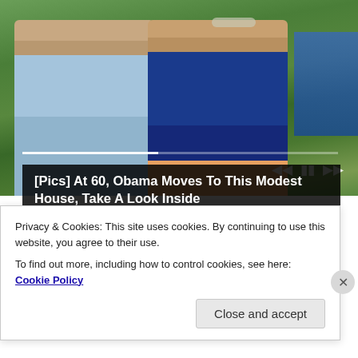[Figure (photo): Photo of two people outdoors with greenery in background, with video player controls and progress bar overlay at bottom]
[Pics] At 60, Obama Moves To This Modest House, Take A Look Inside
[Figure (photo): Thumbnail image of Camp Lejeune with text overlay]
Congress Finally Passes Billions for Camp Lejeune
Privacy & Cookies: This site uses cookies. By continuing to use this website, you agree to their use.
To find out more, including how to control cookies, see here: Cookie Policy
Close and accept